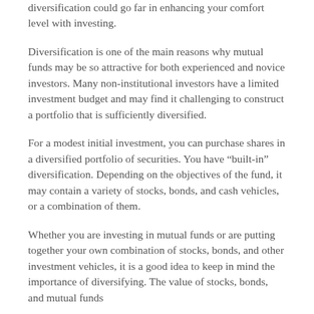diversification could go far in enhancing your comfort level with investing.
Diversification is one of the main reasons why mutual funds may be so attractive for both experienced and novice investors. Many non-institutional investors have a limited investment budget and may find it challenging to construct a portfolio that is sufficiently diversified.
For a modest initial investment, you can purchase shares in a diversified portfolio of securities. You have “built-in” diversification. Depending on the objectives of the fund, it may contain a variety of stocks, bonds, and cash vehicles, or a combination of them.
Whether you are investing in mutual funds or are putting together your own combination of stocks, bonds, and other investment vehicles, it is a good idea to keep in mind the importance of diversifying. The value of stocks, bonds, and mutual funds